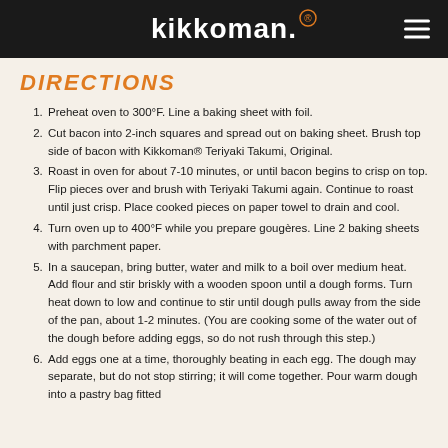kikkoman
DIRECTIONS
Preheat oven to 300°F. Line a baking sheet with foil.
Cut bacon into 2-inch squares and spread out on baking sheet. Brush top side of bacon with Kikkoman® Teriyaki Takumi, Original.
Roast in oven for about 7-10 minutes, or until bacon begins to crisp on top. Flip pieces over and brush with Teriyaki Takumi again. Continue to roast until just crisp. Place cooked pieces on paper towel to drain and cool.
Turn oven up to 400°F while you prepare gougères. Line 2 baking sheets with parchment paper.
In a saucepan, bring butter, water and milk to a boil over medium heat. Add flour and stir briskly with a wooden spoon until a dough forms. Turn heat down to low and continue to stir until dough pulls away from the side of the pan, about 1-2 minutes. (You are cooking some of the water out of the dough before adding eggs, so do not rush through this step.)
Add eggs one at a time, thoroughly beating in each egg. The dough may separate, but do not stop stirring; it will come together. Pour warm dough into a pastry bag fitted